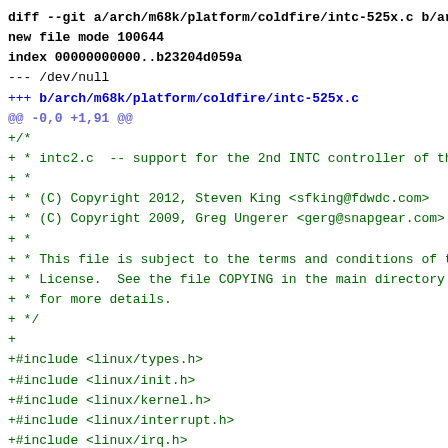diff --git a/arch/m68k/platform/coldfire/intc-525x.c b/arch/m...
new file mode 100644
index 00000000000..b23204d059a
--- /dev/null
+++ b/arch/m68k/platform/coldfire/intc-525x.c
@@ -0,0 +1,91 @@
+/*
+ * intc2.c  -- support for the 2nd INTC controller of the 52...
+ *
+ * (C) Copyright 2012, Steven King <sfking@fdwdc.com>
+ * (C) Copyright 2009, Greg Ungerer <gerg@snapgear.com>
+ *
+ * This file is subject to the terms and conditions of the G...
+ * License.  See the file COPYING in the main directory of t...
+ * for more details.
+ */
+
+#include <linux/types.h>
+#include <linux/init.h>
+#include <linux/kernel.h>
+#include <linux/interrupt.h>
+#include <linux/irq.h>
+#include <linux/io.h>
+#include <asm/coldfire.h>
+#include <asm/mcfsim.h>